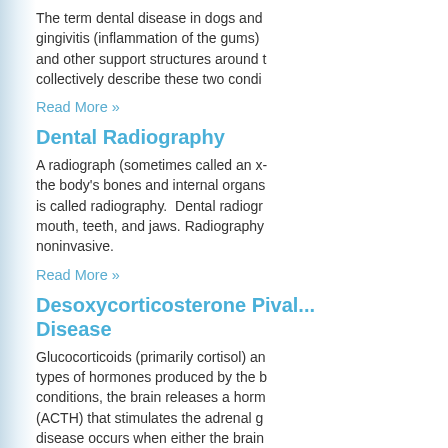The term dental disease in dogs and gingivitis (inflammation of the gums) and other support structures around collectively describe these two condi
Read More »
Dental Radiography
A radiograph (sometimes called an x- the body's bones and internal organs is called radiography. Dental radiogr mouth, teeth, and jaws. Radiography noninvasive.
Read More »
Desoxycorticosterone Pival... Disease
Glucocorticoids (primarily cortisol) an types of hormones produced by the b conditions, the brain releases a horm (ACTH) that stimulates the adrenal g disease occurs when either the brain ACTH, or the adrenal glands fail to re